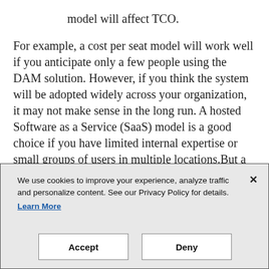model will affect TCO.
For example, a cost per seat model will work well if you anticipate only a few people using the DAM solution. However, if you think the system will be adopted widely across your organization, it may not make sense in the long run. A hosted Software as a Service (SaaS) model is a good choice if you have limited internal expertise or small groups of users in multiple locations.But a SaaS model is not ideal for a business that has large or growing storage needs.
The key data to collect and review in order to determine
We use cookies to improve your experience, analyze traffic and personalize content. See our Privacy Policy for details.
Learn More
Accept
Deny